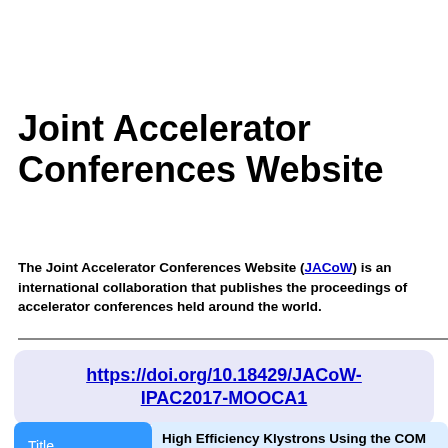Joint Accelerator Conferences Website
The Joint Accelerator Conferences Website (JACoW) international collaboration that publishes the proceedings of accelerator conferences held around the world.
https://doi.org/10.18429/JACoW-IPAC2017-MOOCA1
| Title |  |
| --- | --- |
| Title | High Efficiency Klystrons Using the COM Bunching Technique |